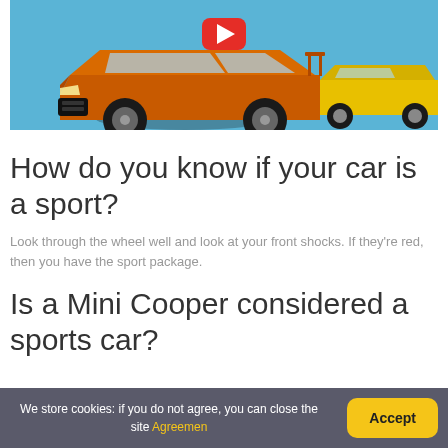[Figure (photo): Video thumbnail showing two sports cars — an orange Nissan GT-R in foreground and a yellow supercar in background — against a blue background, with a red YouTube play button overlay.]
How do you know if your car is a sport?
Look through the wheel well and look at your front shocks. If they're red, then you have the sport package.
Is a Mini Cooper considered a sports car?
We store cookies: if you do not agree, you can close the site Agreement